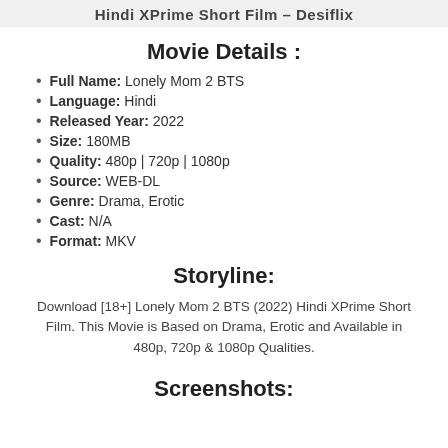Hindi XPrime Short Film – Desiflix
Movie Details :
Full Name: Lonely Mom 2 BTS
Language: Hindi
Released Year: 2022
Size: 180MB
Quality: 480p | 720p | 1080p
Source: WEB-DL
Genre: Drama, Erotic
Cast: N/A
Format: MKV
Storyline:
Download [18+] Lonely Mom 2 BTS (2022) Hindi XPrime Short Film. This Movie is Based on Drama, Erotic and Available in 480p, 720p & 1080p Qualities.
Screenshots: